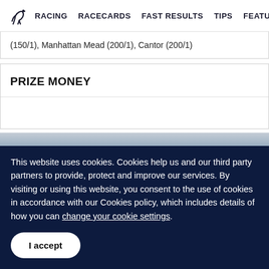RACING  RACECARDS  FAST RESULTS  TIPS  FEATURE
(150/1), Manhattan Mead (200/1), Cantor (200/1)
PRIZE MONEY
This website uses cookies. Cookies help us and our third party partners to provide, protect and improve our services. By visiting or using this website, you consent to the use of cookies in accordance with our Cookies policy, which includes details of how you can change your cookie settings.
I accept